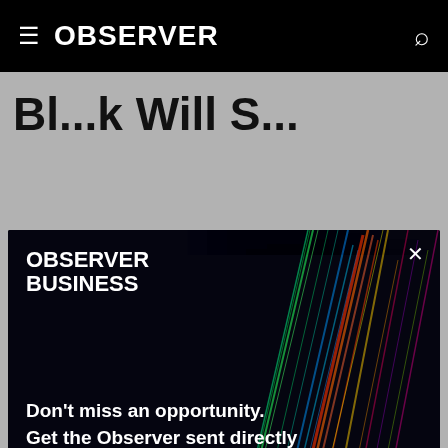OBSERVER
Bl...k Will S...
[Figure (screenshot): Observer Business newsletter modal popup with colorful light streaks background, email signup form with 'Don't miss an opportunity. Get the Observer sent directly to your inbox.' headline, Email Address input field, Sign Up button, and close X button]
much better world," celebrity venture capitalist Tim Draper said.
By Sissi Cao · 11/28/18 12:42pm
[Figure (infographic): Social sharing buttons row: Facebook (dark blue circle), Twitter (light blue circle), LinkedIn (blue circle), Email (grey circle)]